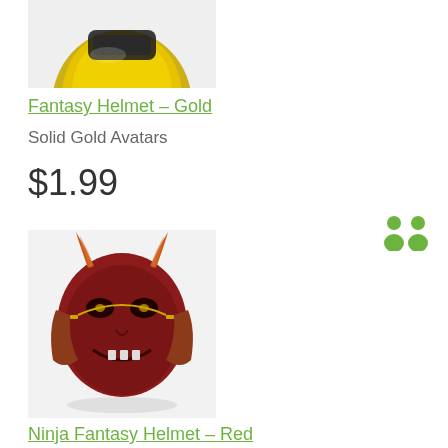[Figure (photo): Gold fantasy helmet product photo, partially cropped at top]
Fantasy Helmet – Gold
Solid Gold Avatars
$1.99
[Figure (photo): Ninja Fantasy Helmet in red with horns, product photo]
Ninja Fantasy Helmet – Red
Ninja- Masks
$0.99